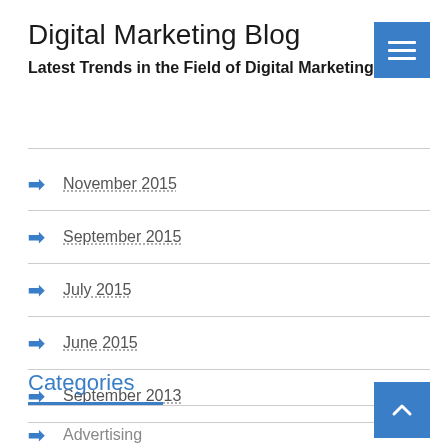Digital Marketing Blog
Latest Trends in the Field of Digital Marketing
November 2015
September 2015
July 2015
June 2015
September 2013
Categories
Advertising